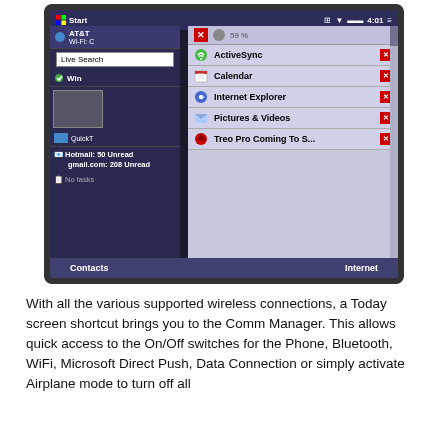[Figure (screenshot): A Windows Mobile phone screen showing a task manager popup with apps: ActiveSync, Calendar, Internet Explorer, Pictures & Videos, Treo Pro Coming To S..., and a Today screen with AT&T WiFi indicator, Live Search, Hotmail 50 Unread, gmail.com 208 Unread, No tasks. Bottom bar shows Contacts and Internet buttons. Status bar shows Start, time 4:01, battery 59%.]
With all the various supported wireless connections, a Today screen shortcut brings you to the Comm Manager. This allows quick access to the On/Off switches for the Phone, Bluetooth, WiFi, Microsoft Direct Push, Data Connection or simply activate Airplane mode to turn off all